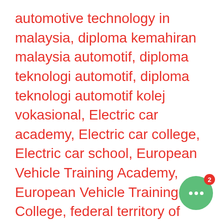automotive technology in malaysia, diploma kemahiran malaysia automotif, diploma teknologi automotif, diploma teknologi automotif kolej vokasional, Electric car academy, Electric car college, Electric car school, European Vehicle Training Academy, European Vehicle Training College, federal territory of kuala lumpur, female auto mechanics near me, hala tuju selepas PT3, hala tuju selepas spm, halatuju selepas pt3 2022, how long does it take to become a certified auto mechanic, how long is auto mechanic school, how much does it cost go to auto mechanic school, How to be a expert, How to be a foreman, how to become
[Figure (other): Green circular chat widget with three white dots and a red notification badge showing the number 2]